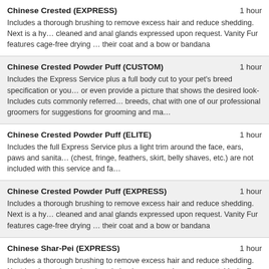Chinese Crested (EXPRESS) | 1 hour | Includes a thorough brushing to remove excess hair and reduce shedding. Next is a hy... cleaned and anal glands expressed upon request. Vanity Fur features cage-free drying ... their coat and a bow or bandana
Chinese Crested Powder Puff (CUSTOM) | 1 hour | Includes the Express Service plus a full body cut to your pet's breed specification or you... or even provide a picture that shows the desired look- Includes cuts commonly referred... breeds, chat with one of our professional groomers for suggestions for grooming and ma...
Chinese Crested Powder Puff (ELITE) | 1 hour | Includes the full Express Service plus a light trim around the face, ears, paws and sanita... (chest, fringe, feathers, skirt, belly shaves, etc.) are not included with this service and fa...
Chinese Crested Powder Puff (EXPRESS) | 1 hour | Includes a thorough brushing to remove excess hair and reduce shedding. Next is a hy... cleaned and anal glands expressed upon request. Vanity Fur features cage-free drying... their coat and a bow or bandana
Chinese Shar-Pei (EXPRESS) | 1 hour | Includes a thorough brushing to remove excess hair and reduce shedding. Next is a hy... cleaned and anal glands expressed upon request. Vanity Fur features cage-free drying... their coat and a bow or bandana
Chow-Chow (CUSTOM) | 1 hour | Includes the Express Service plus a full body cut to your pet's breed specification or you... or even provide a picture that shows the desired look- Includes cuts commonly referred... breeds, chat with one of our professional groomers for suggestions for grooming and ma...
Chow-Chow (ELITE) | 1 hour